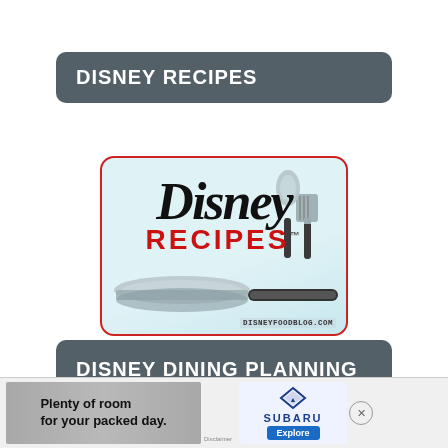DISNEY RECIPES
[Figure (logo): Disney Recipes logo with Disney script font, RECIPES in red bold text, crossed spatula and spoon utensils graphic, silver bowl, and disneyfoodblog.com watermark on light blue background with red border]
DISNEY DINING PLANNING TOOLS
[Figure (photo): Subaru advertisement banner with text 'Plenty of room for your packed day.' showing car interior, Subaru logo and Explore button]